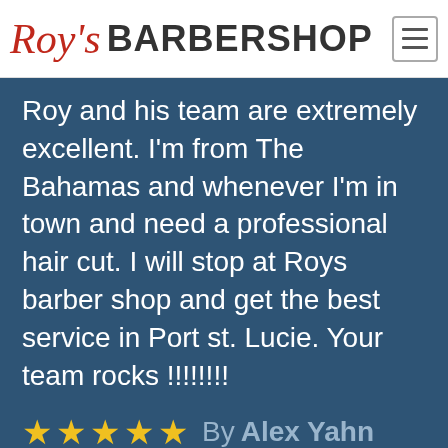[Figure (logo): Roy's Barbershop logo with red cursive 'Roy's' and bold black 'BARBERSHOP' text, plus a hamburger menu icon on the right]
Roy and his team are extremely excellent. I'm from The Bahamas and whenever I'm in town and need a professional hair cut. I will stop at Roys barber shop and get the best service in Port st. Lucie. Your team rocks !!!!!!!!
★★★★★ By Alex Yahn
Roy and his team have established themselves as Port St Lucie's premier barber shop. Outstanding haircuts and